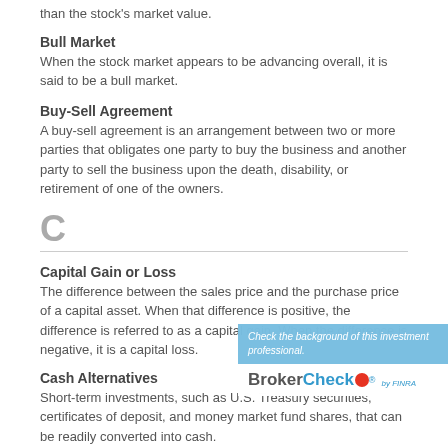than the stock's market value.
Bull Market
When the stock market appears to be advancing overall, it is said to be a bull market.
Buy-Sell Agreement
A buy-sell agreement is an arrangement between two or more parties that obligates one party to buy the business and another party to sell the business upon the death, disability, or retirement of one of the owners.
C
Capital Gain or Loss
The difference between the sales price and the purchase price of a capital asset. When that difference is positive, the difference is referred to as a capital gain. When the difference is negative, it is a capital loss.
Cash Alternatives
Short-term investments, such as U.S. Treasury securities, certificates of deposit, and money market fund shares, that can be readily converted into cash.
[Figure (other): BrokerCheck overlay advertisement showing 'Check the background of this investment professional.' with BrokerCheck by FINRA logo]